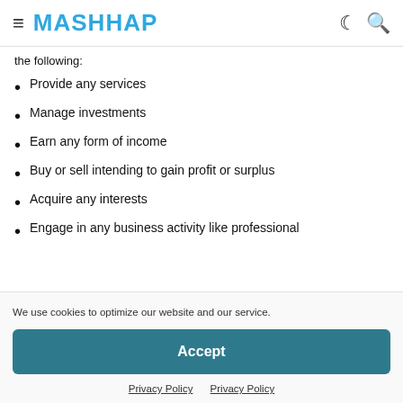≡ MASHHAP
the following:
Provide any services
Manage investments
Earn any form of income
Buy or sell intending to gain profit or surplus
Acquire any interests
Engage in any business activity like professional
We use cookies to optimize our website and our service.
Accept
Privacy Policy   Privacy Policy